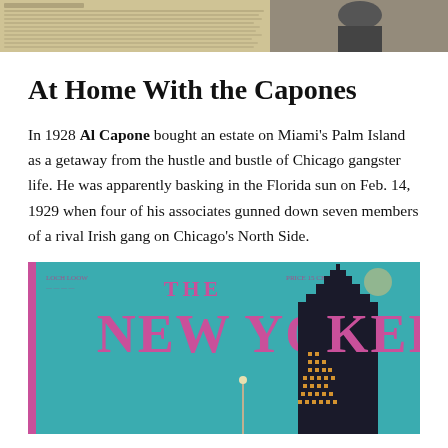[Figure (photo): Top banner: left side shows a newspaper clipping with printed text columns; right side shows a black and white photo of a person in a hat.]
At Home With the Capones
In 1928 Al Capone bought an estate on Miami's Palm Island as a getaway from the hustle and bustle of Chicago gangster life. He was apparently basking in the Florida sun on Feb. 14, 1929 when four of his associates gunned down seven members of a rival Irish gang on Chicago's North Side.
[Figure (photo): Cover of The New Yorker magazine showing the masthead 'THE NEW YORKER' in large pink/magenta letters on a teal background, with a silhouette of a tall art-deco skyscraper (Empire State Building style) on the right.]